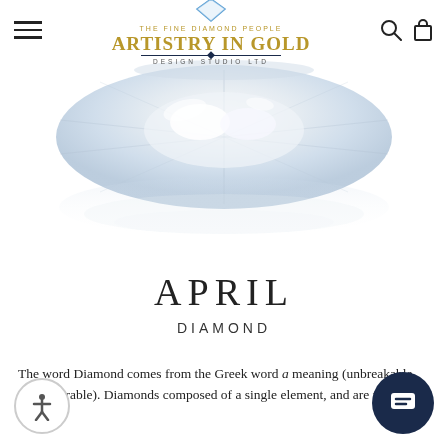THE FINE DIAMOND PEOPLE — ARTISTRY IN GOLD — DESIGN STUDIO LTD
[Figure (photo): Close-up photograph of a sparkling diamond gemstone with its reflection, shown on a white background]
APRIL
DIAMOND
The word Diamond comes from the Greek word a meaning (unbreakable, or unalterable). Diamonds composed of a single element, and are the purest of all the